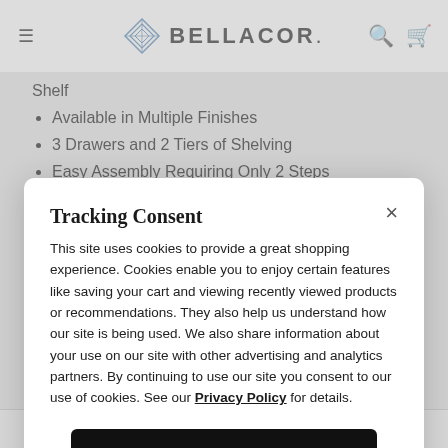BELLACOR.
Shelf
Available in Multiple Finishes
3 Drawers and 2 Tiers of Shelving
Easy Assembly Requiring Only 2 Steps
Crafted from Rubberwood, MDF and Non-Lead-Based
Tracking Consent
This site uses cookies to provide a great shopping experience. Cookies enable you to enjoy certain features like saving your cart and viewing recently viewed products or recommendations. They also help us understand how our site is being used. We also share information about your use on our site with other advertising and analytics partners. By continuing to use our site you consent to our use of cookies. See our Privacy Policy for details.
Continue
Reviews